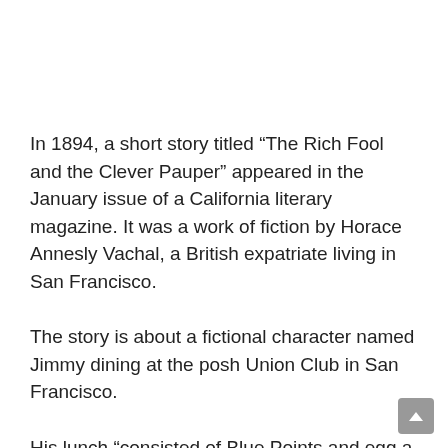In 1894, a short story titled “The Rich Fool and the Clever Pauper” appeared in the January issue of a California literary magazine. It was a work of fiction by Horace Annesly Vachal, a British expatriate living in San Francisco.
The story is about a fictional character named Jimmy dining at the posh Union Club in San Francisco.
His lunch “consisted of Blue Points and egg a la Benedict.” This is considered the first written allusion to Eggs a la Benedict as poached eggs